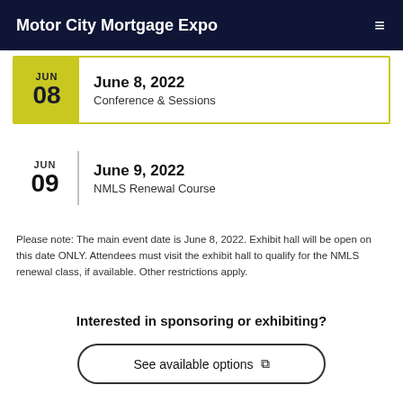Motor City Mortgage Expo
June 8, 2022 — Conference & Sessions
June 9, 2022 — NMLS Renewal Course
Please note: The main event date is June 8, 2022. Exhibit hall will be open on this date ONLY. Attendees must visit the exhibit hall to qualify for the NMLS renewal class, if available. Other restrictions apply.
Interested in sponsoring or exhibiting?
See available options